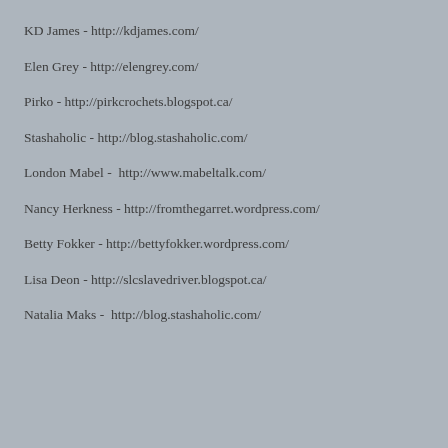KD James - http://kdjames.com/
Elen Grey - http://elengrey.com/
Pirko - http://pirkcrochets.blogspot.ca/
Stashaholic - http://blog.stashaholic.com/
London Mabel -  http://www.mabeltalk.com/
Nancy Herkness - http://fromthegarret.wordpress.com/
Betty Fokker - http://bettyfokker.wordpress.com/
Lisa Deon - http://slcslavedriver.blogspot.ca/
Natalia Maks -  http://blog.stashaholic.com/